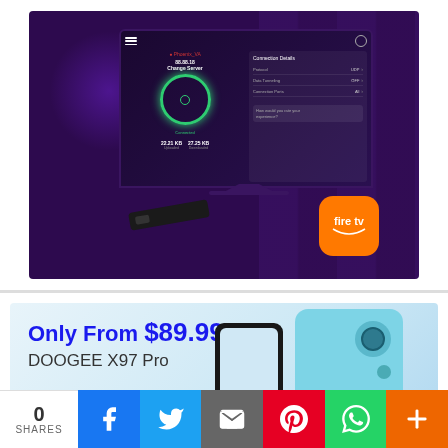[Figure (screenshot): Screenshot showing a VPN app (PIA/Private Internet Access) on a Fire TV / Amazon TV setup. Dark purple background with a TV monitor displaying the VPN connected interface showing Phoenix_VA location, green connected circle, connection details panel on right showing Protocol, Split Tunneling, Connection Ports set to All. Stats show 22.21 KB uploaded and 27.25 KB downloaded. A Fire TV stick device is shown below the TV and the Amazon Fire TV orange logo is overlaid at bottom right.]
[Figure (screenshot): Advertisement banner for DOOGEE X97 Pro smartphone. Text reads 'Only From $89.99' in bold blue, 'DOOGEE X97 Pro' in grey/black. Two phone images shown on right side - one dark phone and one light blue phone with circular dual-camera module.]
0 SHARES | Facebook | Twitter | Email | Pinterest | WhatsApp | More